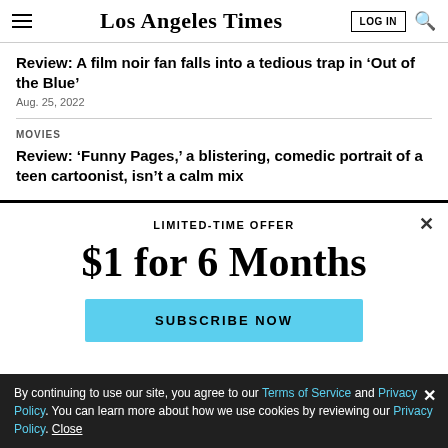Los Angeles Times — LOG IN | Search
Review: A film noir fan falls into a tedious trap in ‘Out of the Blue’
Aug. 25, 2022
MOVIES
Review: ‘Funny Pages,’ a blistering, comedic portrait of a teen cartoonist, isn’t a calm mix
LIMITED-TIME OFFER
$1 for 6 Months
SUBSCRIBE NOW
By continuing to use our site, you agree to our Terms of Service and Privacy Policy. You can learn more about how we use cookies by reviewing our Privacy Policy. Close
[Figure (screenshot): Ad banner: LIVE MUSIC and much more!]